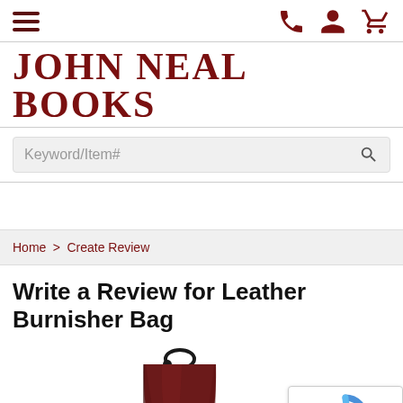Navigation header with hamburger menu and icons (phone, user, cart)
JOHN NEAL BOOKS
Keyword/Item# search bar
Home > Create Review (breadcrumb)
Write a Review for Leather Burnisher Bag
[Figure (photo): Partial photo of a dark red/maroon leather burnisher bag with a black drawstring cord, positioned in the lower left area of the page.]